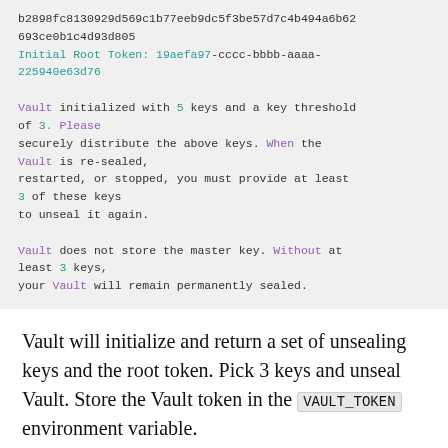b2898fc8130929d569c1b77eeb9dc5f3be57d7c4b494a6b62693ce0b1c4d93d805
Initial Root Token: 19aefa97-cccc-bbbb-aaaa-225940e63d76

Vault initialized with 5 keys and a key threshold of 3. Please
securely distribute the above keys. When the Vault is re-sealed,
restarted, or stopped, you must provide at least 3 of these keys
to unseal it again.

Vault does not store the master key. Without at least 3 keys,
your Vault will remain permanently sealed.
Vault will initialize and return a set of unsealing keys and the root token. Pick 3 keys and unseal Vault. Store the Vault token in the VAULT_TOKEN environment variable.